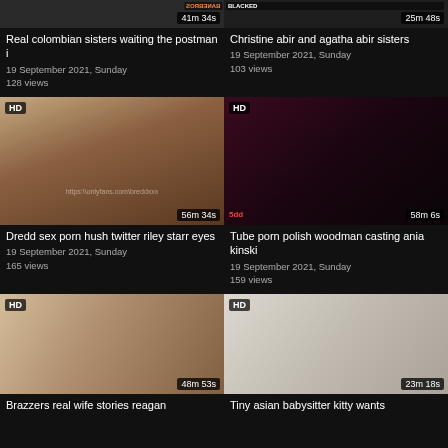[Figure (screenshot): Thumbnail for 'Real colombian sisters waiting the postman i', duration 41m 34s, partial top view]
Real colombian sisters waiting the postman i
19 September 2021, Sunday
128 views
[Figure (screenshot): Thumbnail for 'Christine abir and agatha abir sisters', BLACKED watermark, duration 25m 48s, partial top view]
Christine abir and agatha abir sisters
19 September 2021, Sunday
103 views
[Figure (screenshot): HD thumbnail for 'Dredd sex porn hush twitter riley starr eyes', duration 56m 34s]
Dredd sex porn hush twitter riley starr eyes
19 September 2021, Sunday
165 views
[Figure (screenshot): HD thumbnail for 'Tube porn polish woodman casting ania kinski', duration 58m 6s, sdo logo]
Tube porn polish woodman casting ania kinski
19 September 2021, Sunday
159 views
[Figure (screenshot): HD thumbnail for 'Brazzers real wife stories reagan', duration 48m 53s]
Brazzers real wife stories reagan
[Figure (screenshot): HD thumbnail for 'Tiny asian babysitter kitty wants', duration 23m 18s]
Tiny asian babysitter kitty wants